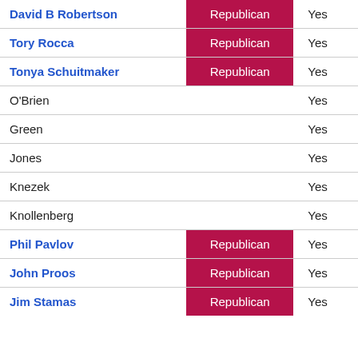| Name | Party | Vote |
| --- | --- | --- |
| David B Robertson | Republican | Yes |
| Tory Rocca | Republican | Yes |
| Tonya Schuitmaker | Republican | Yes |
| O'Brien |  | Yes |
| Green |  | Yes |
| Jones |  | Yes |
| Knezek |  | Yes |
| Knollenberg |  | Yes |
| Phil Pavlov | Republican | Yes |
| John Proos | Republican | Yes |
| Jim Stamas | Republican | Yes |